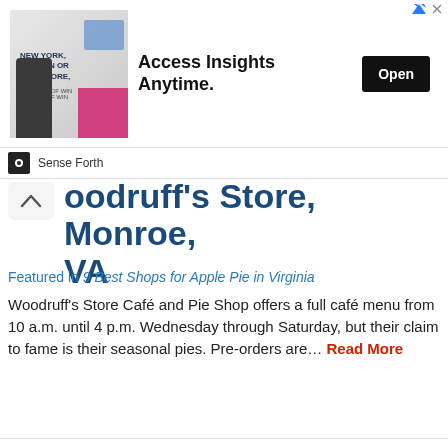[Figure (screenshot): Advertisement banner: image of man in suit with text 'NEW YORK, LONDON OR SINGAPORE' on left, 'Access Insights Anytime.' text in center, and 'Open' button on right. Labeled 'Sense Forth' below.]
oodruff's Store, Monroe, VA
Featured in 9 Best Shops for Apple Pie in Virginia
Woodruff's Store Café and Pie Shop offers a full café menu from 10 a.m. until 4 p.m. Wednesday through Saturday, but their claim to fame is their seasonal pies. Pre-orders are… Read More
[Figure (photo): Photo of a young child with blond hair picking or smelling peaches/apples in an orchard with green leaves and ripe fruit visible.]